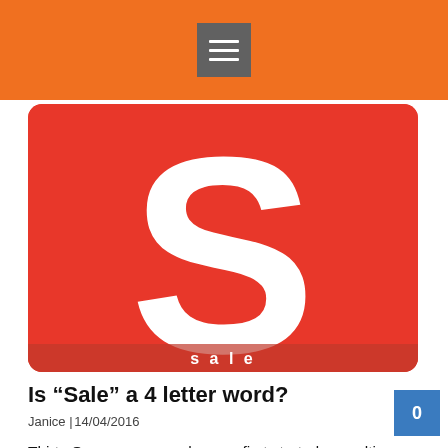≡
[Figure (illustration): Red rounded rectangle with a large white letter S in the center, resembling the Scribd logo, with partial text visible at the bottom edge.]
Is “Sale” a 4 letter word?
Janice | 14/04/2016
Thirty One years ago when we first started consulting healthcare professionals, the words “sales” and “selling” were almost swear words.  Seriously!  Some doctors would get angry at us for even mentioning those words in relation to their patients and their health care.  We had to say “treatment plan